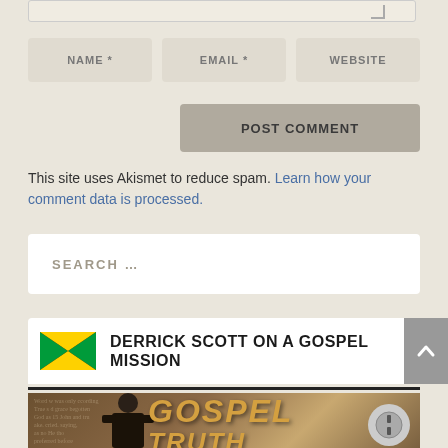[Figure (screenshot): Top of a comment form showing NAME *, EMAIL *, WEBSITE input fields and a POST COMMENT button]
This site uses Akismet to reduce spam. Learn how your comment data is processed.
[Figure (screenshot): Search bar with placeholder text SEARCH ...]
DERRICK SCOTT ON A GOSPEL MISSION
[Figure (photo): Gospel Truth promotional image showing a man in a suit next to large stylized text reading GOSPEL TRUTH with Bible text background]